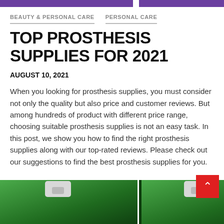[Figure (other): Purple banner strips at top of page, split into two sections]
BEAUTY & PERSONAL CARE   PERSONAL CARE
TOP PROSTHESIS SUPPLIES FOR 2021
AUGUST 10, 2021
When you looking for prosthesis supplies, you must consider not only the quality but also price and customer reviews. But among hundreds of product with different price range, choosing suitable prosthesis supplies is not an easy task. In this post, we show you how to find the right prosthesis supplies along with our top-rated reviews. Please check out our suggestions to find the best prosthesis supplies for you.
[Figure (photo): Bottom portion of product packaging items with green background and white hanger tabs, partially visible at bottom of page]